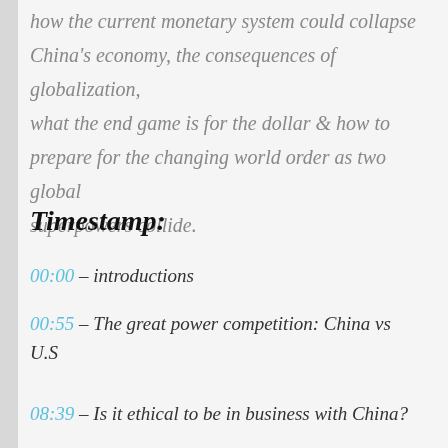how the current monetary system could collapse China's economy, the consequences of globalization, what the end game is for the dollar & how to prepare for the changing world order as two global superpowers collide.
Timestamp:
00:00 – introductions
00:55 – The great power competition: China vs U.S
08:39 – Is it ethical to be in business with China?